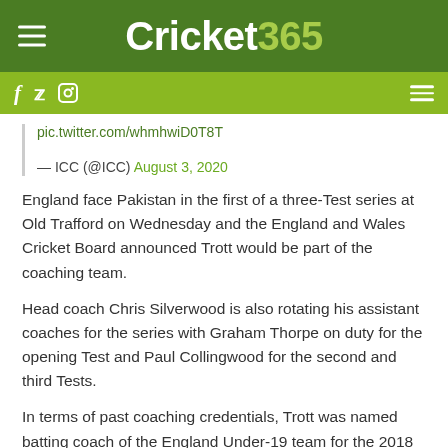Cricket365
pic.twitter.com/whmhwiD0T8T
— ICC (@ICC) August 3, 2020
England face Pakistan in the first of a three-Test series at Old Trafford on Wednesday and the England and Wales Cricket Board announced Trott would be part of the coaching team.
Head coach Chris Silverwood is also rotating his assistant coaches for the series with Graham Thorpe on duty for the opening Test and Paul Collingwood for the second and third Tests.
In terms of past coaching credentials, Trott was named batting coach of the England Under-19 team for the 2018